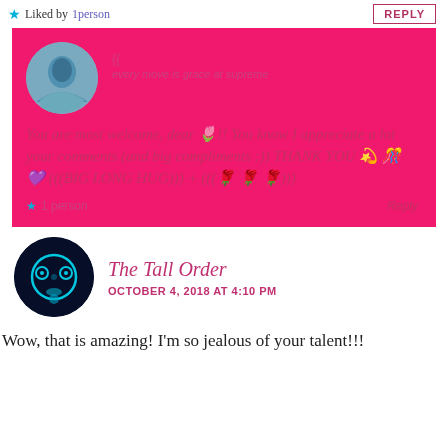★ Liked by 1person
REPLY
You are most welcome, dear 🌷!! You know I appreciate a lot your comments (and big compliments :)) THANK YOU 💫 💥 💜 (((BIG LONG HUG))) + (((🌹 🌹 🌹)))
★ 1 person   Reply
The Tall Order
OCTOBER 4, 2018 AT 4:10 PM
Wow, that is amazing! I'm so jealous of your talent!!!